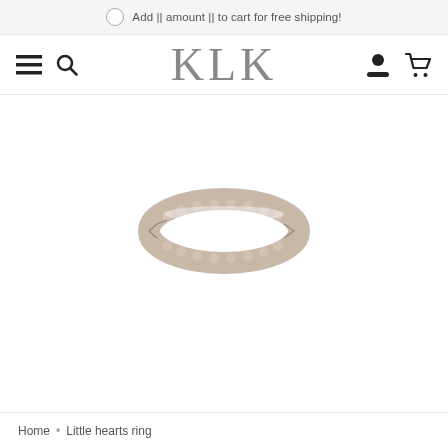Add || amount || to cart for free shipping!
KLK
[Figure (photo): A silver ring with small heart-shaped embellishments around its band, photographed on a white background.]
Home • Little hearts ring